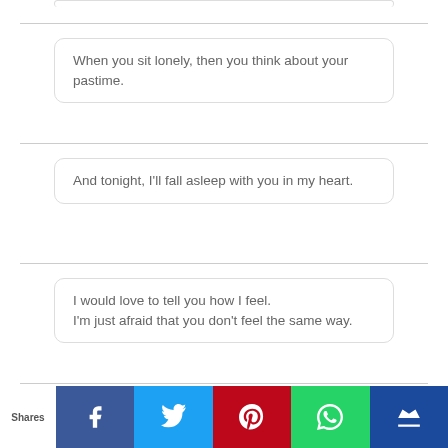When you sit lonely, then you think about your pastime.
And tonight, I'll fall asleep with you in my heart.
I would love to tell you how I feel. I'm just afraid that you don't feel the same way.
Shares